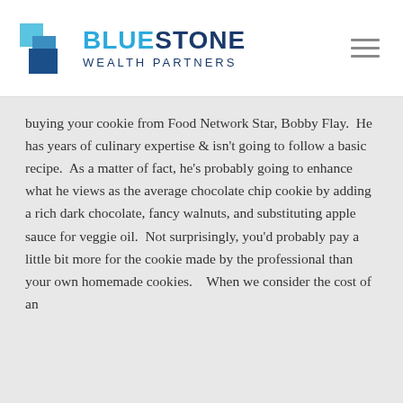[Figure (logo): Bluestone Wealth Partners logo with blue square icon and text]
buying your cookie from Food Network Star, Bobby Flay.  He has years of culinary expertise & isn't going to follow a basic recipe.  As a matter of fact, he's probably going to enhance what he views as the average chocolate chip cookie by adding a rich dark chocolate, fancy walnuts, and substituting apple sauce for veggie oil.  Not surprisingly, you'd probably pay a little bit more for the cookie made by the professional than your own homemade cookies.   When we consider the cost of an